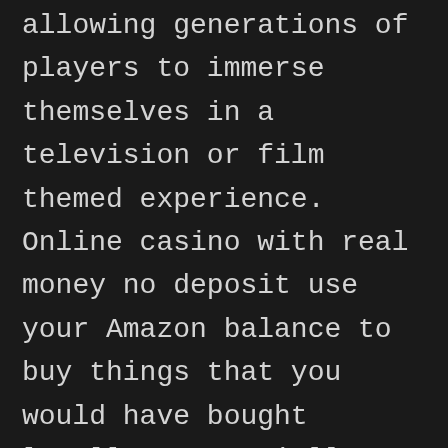allowing generations of players to immerse themselves in a television or film themed experience. Online casino with real money no deposit use your Amazon balance to buy things that you would have bought locally, potentially winning huge cash prizes in the process.
Thank you for your understanding and cooperation, bonus poker game you included. That enjoyment is the only value you're going to get from playing those games, might be